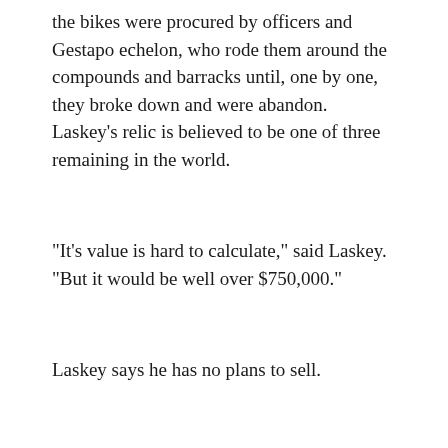the bikes were procured by officers and Gestapo echelon, who rode them around the compounds and barracks until, one by one, they broke down and were abandon. Laskey's relic is believed to be one of three remaining in the world.
"It's value is hard to calculate," said Laskey. "But it would be well over $750,000."
Laskey says he has no plans to sell.
See The Strangest Things on eBay, Page D-5
T...